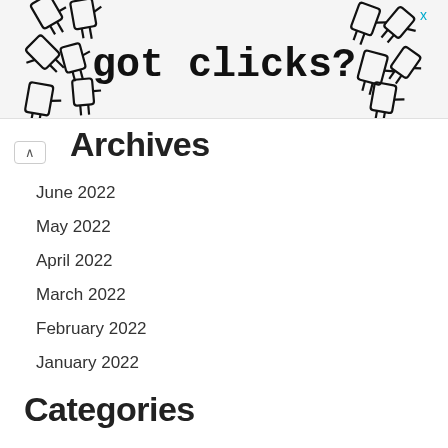[Figure (illustration): Advertisement banner with multiple cursor/hand pointer icons surrounding bold text 'got clicks?' with an X close button in the top right corner]
Archives
June 2022
May 2022
April 2022
March 2022
February 2022
January 2022
Categories